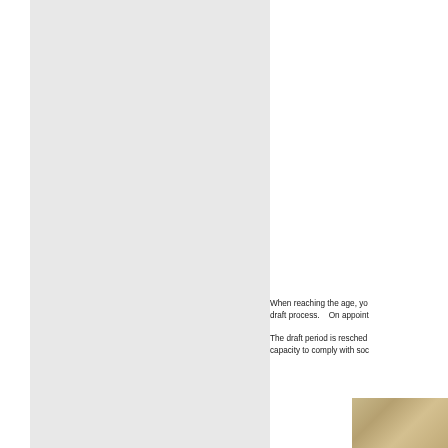[Figure (other): Gray rectangular panel on the left side of the page]
When reaching the age, yo... draft process.   On appoint...
The draft period is resched... capacity to comply with soc...
[Figure (photo): Partial photo of an aged document or paper with tan/beige tones, visible in the lower right corner]